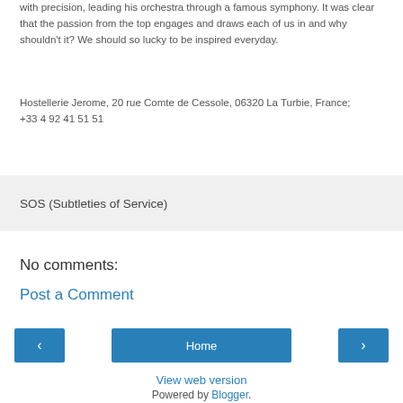with precision, leading his orchestra through a famous symphony. It was clear that the passion from the top engages and draws each of us in and why shouldn't it? We should so lucky to be inspired everyday.
Hostellerie Jerome, 20 rue Comte de Cessole, 06320 La Turbie, France; +33 4 92 41 51 51
SOS (Subtleties of Service)
No comments:
Post a Comment
Home
View web version
Powered by Blogger.